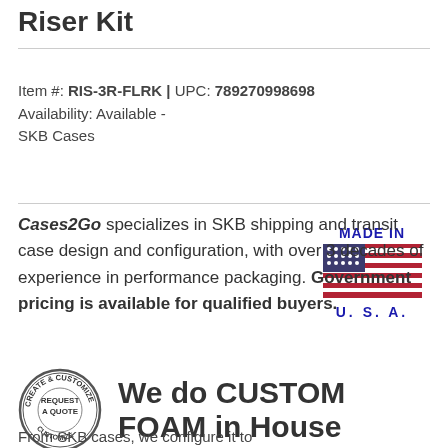Riser Kit
Item #: RIS-3R-FLRK | UPC: 789270998698
Availability: Available -
SKB Cases
Cases2Go specializes in SKB shipping and transit case design and configuration, with over 3 decades of experience in performance packaging. Government pricing is available for qualified buyers.
[Figure (logo): Made in USA badge with American flag graphic and text MADE IN U. S. A.]
[Figure (logo): Circular badge with text CREATE & CUSTOMIZE and REQUEST A QUOTE in center]
We do CUSTOM FOAM in House
From SKB cases, we configure it to...